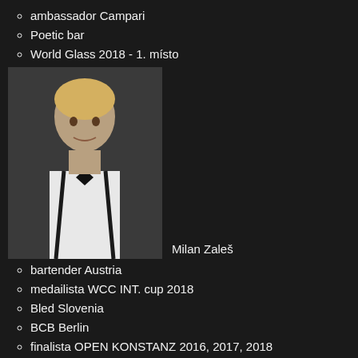ambassador Campari
Poetic bar
World Glass 2018 - 1. místo
[Figure (photo): Photo of Milan Zaleš, a young man in white shirt and black suspenders with bow tie]
Milan Zaleš
bartender Austria
medailista WCC INT. cup 2018
Bled Slovenia
BCB Berlin
finalista OPEN KONSTANZ 2016, 2017, 2018
finalista IWCC WIEN 2016
[Figure (photo): Photo of Pavel Cinkanič, a man in black shirt pouring a drink]
Pavel Cinkanič
Majitel agentury Cocktailshow.cz
bar manager Boat Captain Morgan Prague
[Figure (photo): Partially visible photo at bottom of page]